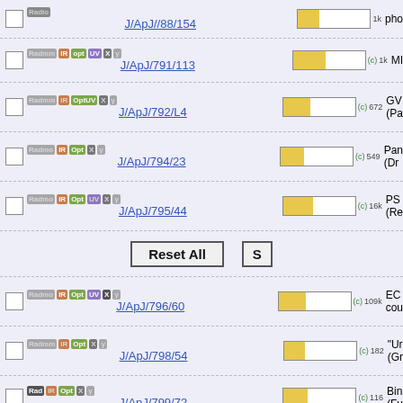J/ApJ//88/154 | 1k | pho
J/ApJ/791/113 | (c) 1k | MI
J/ApJ/792/L4 | (c) 672 | GV (Pa
J/ApJ/794/23 | (c) 549 | Pan (Dr
J/ApJ/795/44 | (c) 16k | PS (Re
Reset All | S
J/ApJ/796/60 | (c) 109k | EC cou
J/ApJ/798/54 | (c) 182 | "U (Gr
J/ApJ/799/72 | (c) 116 | Bin (Fu
J/ApJ/799/208 | (c) 562 | Ty (Sa